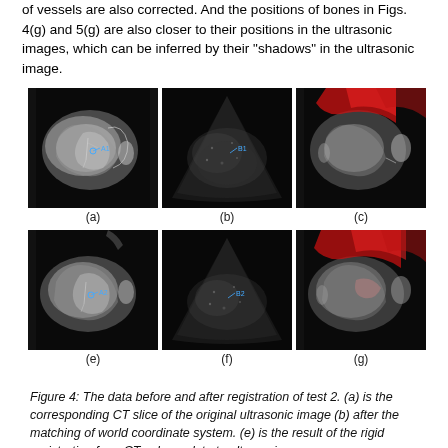of vessels are also corrected. And the positions of bones in Figs. 4(g) and 5(g) are also closer to their positions in the ultrasonic images, which can be inferred by their “shadows” in the ultrasonic image.
[Figure (photo): Six medical images arranged in two rows of three: (a) CT slice, (b) ultrasonic image with B1 marker, (c) overlay with red highlights, (e) registered CT slice with A2 marker, (f) ultrasonic image with B2 marker, (g) registered overlay with red highlights.]
Figure 4: The data before and after registration of test 2. (a) is the corresponding CT slice of the original ultrasonic image (b) after the matching of world coordinate system. (e) is the result of the rigid registration from CT volume data to ultrasonic